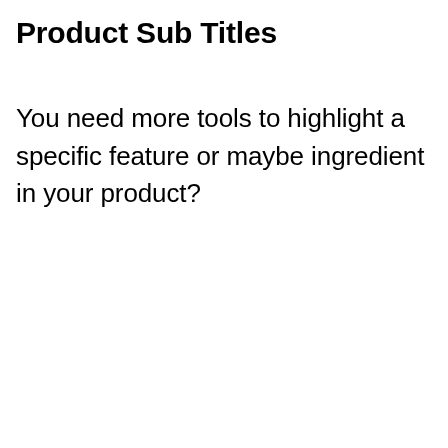Product Sub Titles
You need more tools to highlight a specific feature or maybe ingredient in your product?